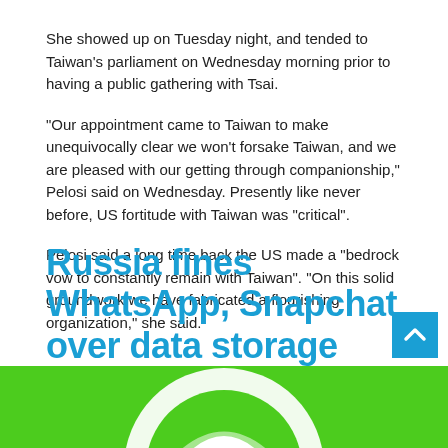She showed up on Tuesday night, and tended to Taiwan’s parliament on Wednesday morning prior to having a public gathering with Tsai.
“Our appointment came to Taiwan to make unequivocally clear we won’t forsake Taiwan, and we are pleased with our getting through companionship,” Pelosi said on Wednesday. Presently like never before, US fortitude with Taiwan was “critical”.
Pelosi said a long time back the US made a “bedrock vow to constantly remain with Taiwan”. “On this solid groundwork we have fabricated a flourishing organization,” she said.
Russia fines WhatsApp, Snapchat over data storage
[Figure (photo): Green background with partial WhatsApp logo visible at bottom of page]